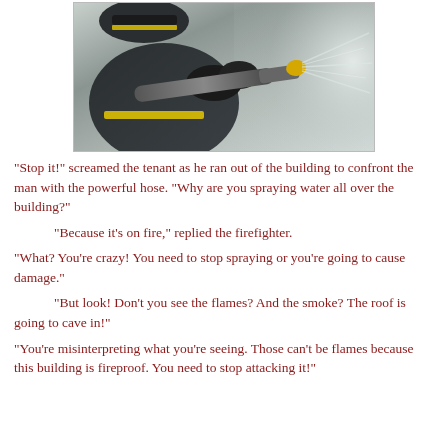[Figure (photo): A firefighter in dark gear with yellow accents holding a powerful fire hose spraying water, close-up action shot.]
"Stop it!" screamed the tenant as he ran out of the building to confront the man with the powerful hose. "Why are you spraying water all over the building?"
"Because it's on fire," replied the firefighter.
"What? You're crazy! You need to stop spraying or you're going to cause damage."
"But look! Don't you see the flames? And the smoke? The roof is going to cave in!"
"You're misinterpreting what you're seeing. Those can't be flames because this building is fireproof. You need to stop attacking it!"